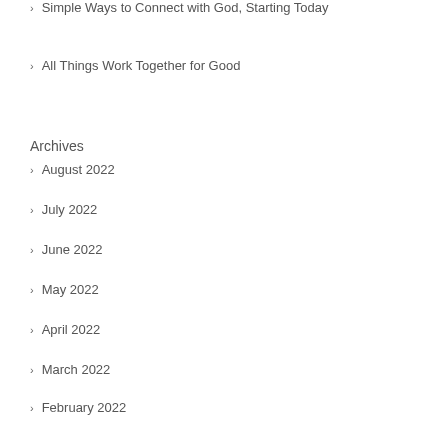Simple Ways to Connect with God, Starting Today
All Things Work Together for Good
Archives
August 2022
July 2022
June 2022
May 2022
April 2022
March 2022
February 2022
January 2022
December 2021